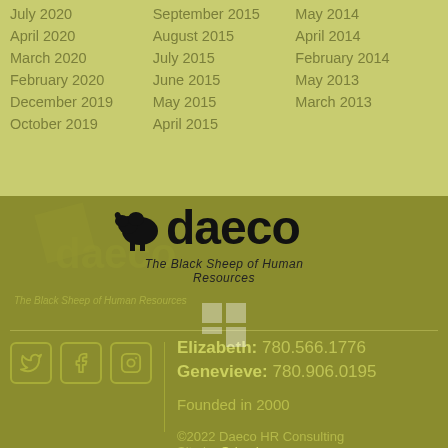July 2020
April 2020
March 2020
February 2020
December 2019
October 2019
September 2015
August 2015
July 2015
June 2015
May 2015
April 2015
May 2014
April 2014
February 2014
May 2013
March 2013
[Figure (logo): Daeco HR Consulting logo with sheep icon and text 'daeco — The Black Sheep of Human Resources']
Elizabeth: 780.566.1776
Genevieve: 780.906.0195
Founded in 2000
©2022 Daeco HR Consulting
Site by Odvod